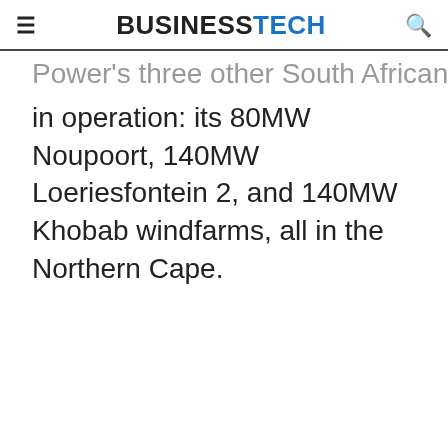BUSINESSTECH
Power's three other South African operations already in operation: its 80MW Noupoort, 140MW Loeriesfontein 2, and 140MW Khobab windfarms, all in the Northern Cape.